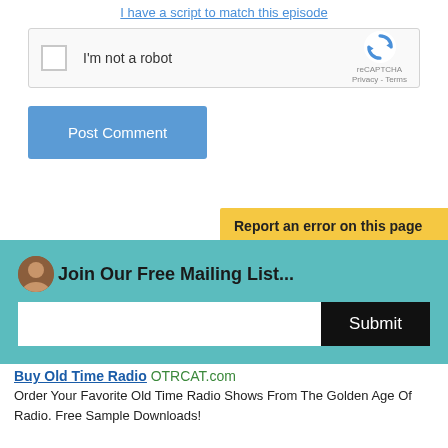I have a script to match this episode
[Figure (other): reCAPTCHA widget with checkbox labeled 'I'm not a robot' and reCAPTCHA logo with Privacy and Terms links]
Post Comment
Report an error on this page
Join Our Free Mailing List...
Submit
Buy Old Time Radio OTRCAT.com
Order Your Favorite Old Time Radio Shows From The Golden Age Of Radio. Free Sample Downloads!